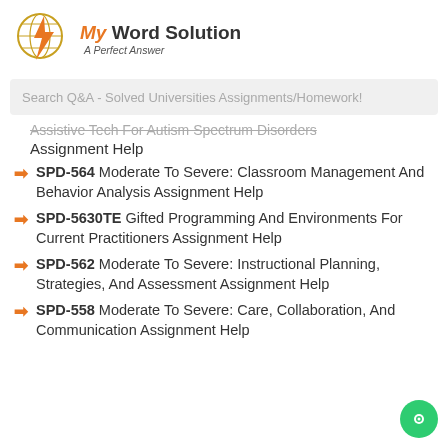[Figure (logo): MyWordSolution logo with orange lightning bolt and globe icon, text 'My Word Solution' and tagline 'A Perfect Answer']
Search Q&A - Solved Universities Assignments/Homework!
Assistive Tech For Autism Spectrum Disorders Assignment Help
SPD-564 Moderate To Severe: Classroom Management And Behavior Analysis Assignment Help
SPD-5630TE Gifted Programming And Environments For Current Practitioners Assignment Help
SPD-562 Moderate To Severe: Instructional Planning, Strategies, And Assessment Assignment Help
SPD-558 Moderate To Severe: Care, Collaboration, And Communication Assignment Help